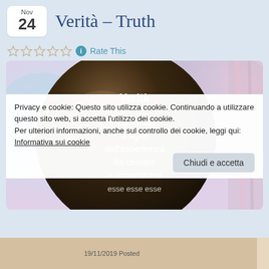Nov 24
Verità – Truth
Rate This
[Figure (illustration): Circular dark image with Italian text: 'Verità / La verità è figlia dell'esperienza da cercare e riconoscere esse esse esse' on a soft bokeh background]
Privacy e cookie: Questo sito utilizza cookie. Continuando a utilizzare questo sito web, si accetta l'utilizzo dei cookie.
Per ulteriori informazioni, anche sul controllo dei cookie, leggi qui:
Informativa sui cookie
Chiudi e accetta